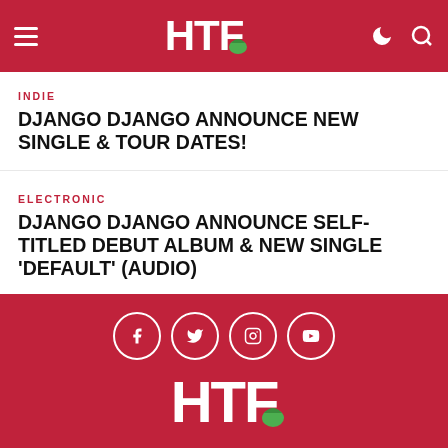HTF Magazine header with logo and navigation icons
INDIE
DJANGO DJANGO ANNOUNCE NEW SINGLE & TOUR DATES!
ELECTRONIC
DJANGO DJANGO ANNOUNCE SELF-TITLED DEBUT ALBUM & NEW SINGLE 'DEFAULT' (AUDIO)
CONTACT   PRIVACY POLICY   COPYRIGHT © 2022 HTF MAGAZINE